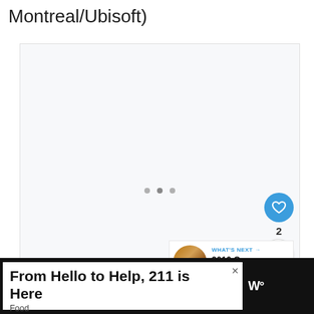Montreal/Ubisoft)
[Figure (screenshot): A media player or slideshow panel with a light gray background, pagination dots in the center, a blue heart/like button showing count of 2, a share button, and a 'What's Next' promo showing '2016 Oscars Nominees']
WHAT'S NEXT → 2016 Oscars Nominees
From Hello to Help, 211 is Here Food